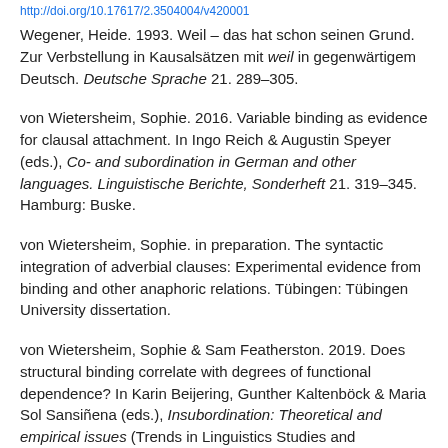http://doi.org/10.17617/2.3504004/v420001
Wegener, Heide. 1993. Weil – das hat schon seinen Grund. Zur Verbstellung in Kausalsätzen mit weil in gegenwärtigem Deutsch. Deutsche Sprache 21. 289–305.
von Wietersheim, Sophie. 2016. Variable binding as evidence for clausal attachment. In Ingo Reich & Augustin Speyer (eds.), Co- and subordination in German and other languages. Linguistische Berichte, Sonderheft 21. 319–345. Hamburg: Buske.
von Wietersheim, Sophie. in preparation. The syntactic integration of adverbial clauses: Experimental evidence from binding and other anaphoric relations. Tübingen: Tübingen University dissertation.
von Wietersheim, Sophie & Sam Featherston. 2019. Does structural binding correlate with degrees of functional dependence? In Karin Beijering, Gunther Kaltenböck & Maria Sol Sansiñena (eds.), Insubordination: Theoretical and empirical issues (Trends in Linguistics Studies and